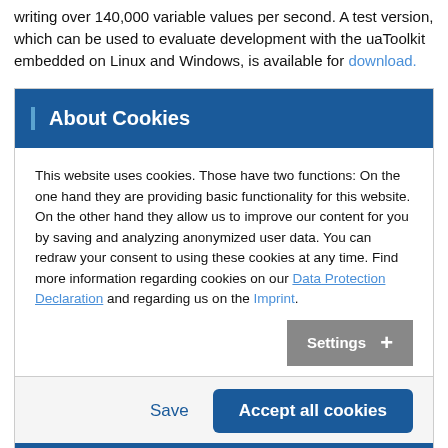writing over 140,000 variable values per second. A test version, which can be used to evaluate development with the uaToolkit embedded on Linux and Windows, is available for download.
About Cookies
This website uses cookies. Those have two functions: On the one hand they are providing basic functionality for this website. On the other hand they allow us to improve our content for you by saving and analyzing anonymized user data. You can redraw your consent to using these cookies at any time. Find more information regarding cookies on our Data Protection Declaration and regarding us on the Imprint.